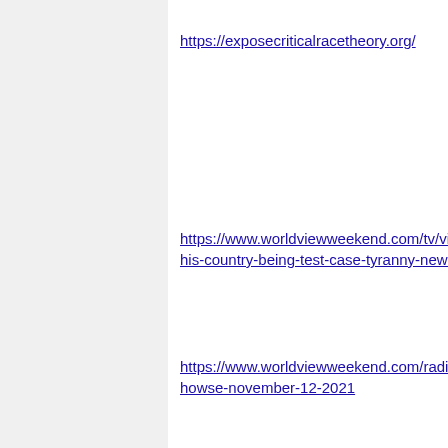https://exposecriticalracetheory.org/
https://www.worldviewweekend.com/tv/video/his-country-being-test-case-tyranny-new-w
https://www.worldviewweekend.com/radio/howse-november-12-2021